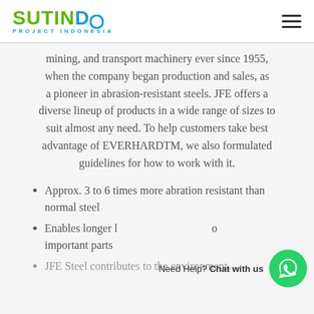SUTINDO PROJECT INDONESIA
mining, and transport machinery ever since 1955, when the company began production and sales, as a pioneer in abrasion-resistant steels. JFE offers a diverse lineup of products in a wide range of sizes to suit almost any need. To help customers take best advantage of EVERHARDTM, we also formulated guidelines for how to work with it.
Approx. 3 to 6 times more abration resistant than normal steel
Enables longer life of important parts
JFE Steel contributes to the environment...